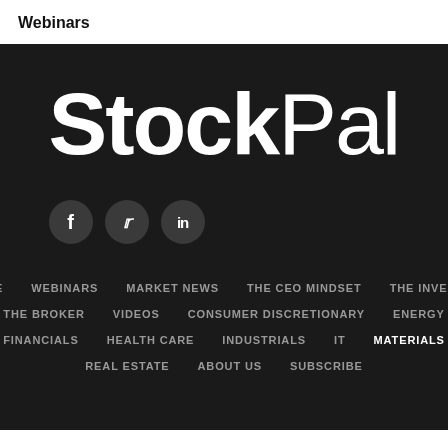Webinars
[Figure (logo): StockPal logo in large white text on dark background, with 'Stock' in bold and 'Pal' in light weight, followed by social media icons (Facebook, Twitter, LinkedIn) in dark circles]
HOME
WEBINARS
MARKET NEWS
THE CEO MINDSET
THE INVESTOR
THE BROKER
VIDEOS
CONSUMER DISCRETIONARY
ENERGY
FINANCIALS
HEALTH CARE
INDUSTRIALS
IT
MATERIALS
REAL ESTATE
ABOUT US
SUBSCRIBE